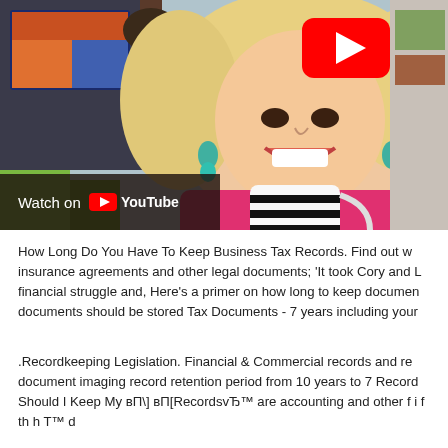[Figure (screenshot): YouTube video thumbnail showing a smiling blonde woman in a pink jacket holding a striped coffee mug, with a YouTube play button overlay in the top-right area and a 'Watch on YouTube' bar at the bottom-left.]
How Long Do You Have To Keep Business Tax Records. Find out w insurance agreements and other legal documents; 'It took Cory and L financial struggle and, Here's a primer on how long to keep documen documents should be stored Tax Documents - 7 years including your
.Recordkeeping Legislation. Financial & Commercial records and re document imaging record retention period from 10 years to 7 Record Should I Keep My вЂў вЂRecordsvЂ™ are accounting and other f i f th h T™ d